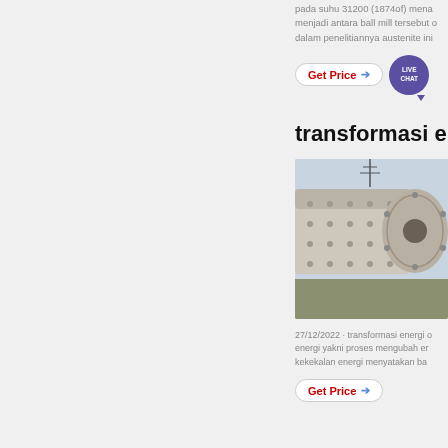pada suhu 31200 (1874of) menjadi antara ball mill tersebut d dalam penelitiannya austenite ini
[Figure (illustration): Get Price button with arrow icon and Live Chat speech bubble in purple]
transformasi ener
[Figure (photo): Large industrial ball mill machine photographed outdoors, cylindrical shape with bolt patterns on the end face, tan/grey color]
27/12/2022 · transformasi energi energi yakni proses mengubah en kekekalan energi menyatakan ba
[Figure (illustration): Get Price button with arrow icon]